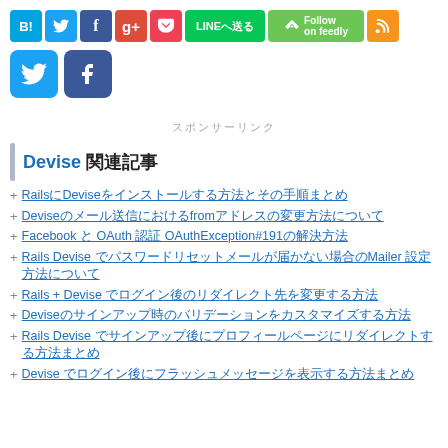[Figure (other): Social sharing buttons row: BI (blue), Twitter (blue), Facebook (dark blue), Google+ (red), Pocket (red), LINE (green), Feedly Follow (green), RSS (orange)]
[Figure (other): Follow buttons: Twitter bird icon (light blue square), Facebook f icon (dark blue square)]
スポンサーリンク
Devise 関連記事
RailsにDeviseをインストールする方法とその手順まとめ
Deviseのメール送信におけるfromアドレスの変更方法について
Facebook と OAuth 認証 OAuthException#191の解決方法
Rails Devise でパスワードリセットメールが届かない場合のMailer 設定方法について
Rails + Devise でログイン後のリダイレクト先を変更する方法
Deviseのサインアップ時のバリデーションをカスタマイズする方法
Rails Devise でサインアップ後にプロフィールページにリダイレクトする方法まとめ
Devise でログイン後にフラッシュメッセージを表示する方法まとめ